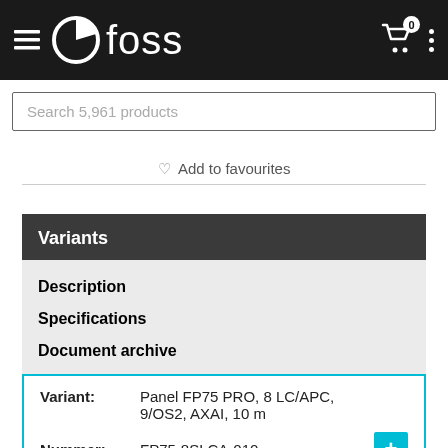foss
Search 5,961 products
Add to favourites
Variants
Description
Specifications
Document archive
| Field | Value |
| --- | --- |
| Variant: | Panel FP75 PRO, 8 LC/APC, 9/OS2, AXAI, 10 m |
| Nummer: | FP75-8SLCA-010 |